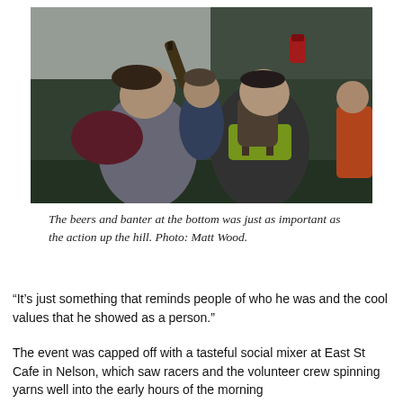[Figure (photo): Two men tilting their heads back drinking from a bottle and a can respectively, outdoors at what appears to be a mountain biking event. Other people visible in the background.]
The beers and banter at the bottom was just as important as the action up the hill. Photo: Matt Wood.
“It’s just something that reminds people of who he was and the cool values that he showed as a person.”
The event was capped off with a tasteful social mixer at East St Cafe in Nelson, which saw racers and the volunteer crew spinning yarns well into the early hours of the morning